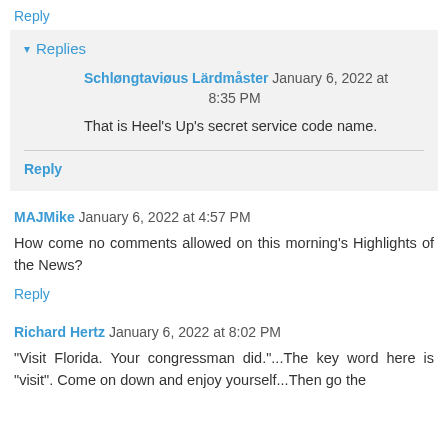Reply
▾ Replies
Schløngtaviøus Lärdmåster January 6, 2022 at 8:35 PM
That is Heel's Up's secret service code name.
Reply
MAJMike January 6, 2022 at 4:57 PM
How come no comments allowed on this morning's Highlights of the News?
Reply
Richard Hertz January 6, 2022 at 8:02 PM
"Visit Florida. Your congressman did."...The key word here is "visit". Come on down and enjoy yourself...Then go the